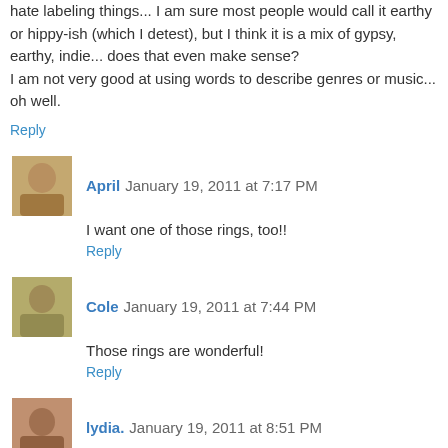hate labeling things... I am sure most people would call it earthy or hippy-ish (which I detest), but I think it is a mix of gypsy, earthy, indie... does that even make sense?
I am not very good at using words to describe genres or music... oh well.
Reply
April  January 19, 2011 at 7:17 PM
I want one of those rings, too!!
Reply
Cole  January 19, 2011 at 7:44 PM
Those rings are wonderful!
Reply
lydia.  January 19, 2011 at 8:51 PM
rustic, vintage, wooden, beachy, cottage.